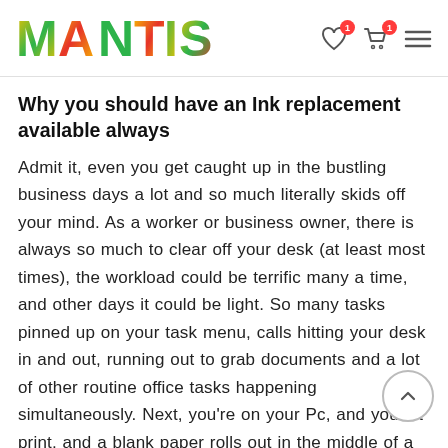MANTIS
Why you should have an Ink replacement available always
Admit it, even you get caught up in the bustling business days a lot and so much literally skids off your mind. As a worker or business owner, there is always so much to clear off your desk (at least most times), the workload could be terrific many a time, and other days it could be light. So many tasks pinned up on your task menu, calls hitting your desk in and out, running out to grab documents and a lot of other routine office tasks happening simultaneously. Next, you’re on your Pc, and you hit print, and a blank paper rolls out in the middle of a tiresome day and too bad, the next super store is about 20 minutes drive (not considering traffic).